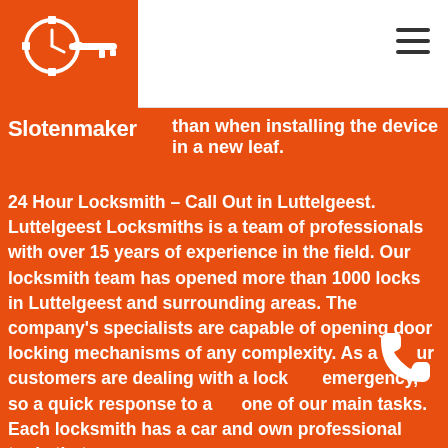[Figure (logo): Slotenmaker logo: white key with gear/clock icon on orange background]
Slotenmaker
than when installing the device in a new leaf.
24 Hour Locksmith – Call Out in Luttelgeest. Luttelgeest Locksmiths is a team of professionals with over 15 years of experience in the field. Our locksmith team has opened more than 1000 locks in Luttelgeest and surrounding areas. The company's specialists are capable of opening door locking mechanisms of any complexity. As a ... our customers are dealing with a lock ... emergency, so a quick response to a ... one of our main tasks. Each locksmith has a car and own professional tools that ensure a